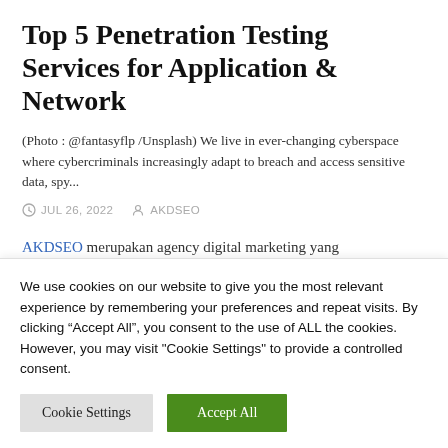Top 5 Penetration Testing Services for Application & Network
(Photo : @fantasyflp /Unsplash) We live in ever-changing cyberspace where cybercriminals increasingly adapt to breach and access sensitive data, spy...
JUL 26, 2022   AKDSEO
AKDSEO merupakan agency digital marketing yang
We use cookies on our website to give you the most relevant experience by remembering your preferences and repeat visits. By clicking “Accept All”, you consent to the use of ALL the cookies. However, you may visit "Cookie Settings" to provide a controlled consent.